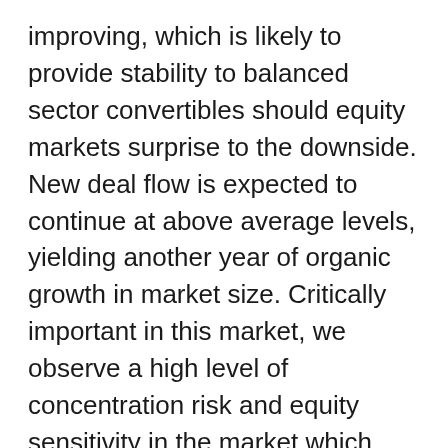improving, which is likely to provide stability to balanced sector convertibles should equity markets surprise to the downside. New deal flow is expected to continue at above average levels, yielding another year of organic growth in market size. Critically important in this market, we observe a high level of concentration risk and equity sensitivity in the market which can expose high delta investors and passive index ETF shares to significantly greater levels of volatility relative to actively managed balanced strategies. Our partners at Zazove Associates have been actively managing portfolios...